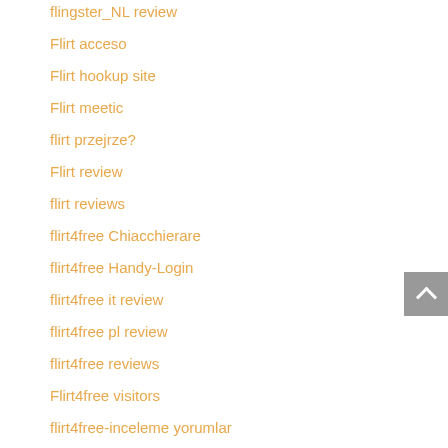flingster_NL review
Flirt acceso
Flirt hookup site
Flirt meetic
flirt przejrze?
Flirt review
flirt reviews
flirt4free Chiacchierare
flirt4free Handy-Login
flirt4free it review
flirt4free pl review
flirt4free reviews
Flirt4free visitors
flirt4free-inceleme yorumlar
flirtbuddies-inceleme review